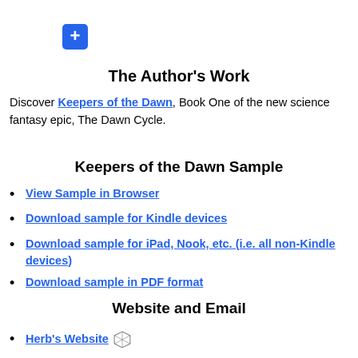[Figure (other): Blue rounded square button with a white plus/add icon]
The Author's Work
Discover Keepers of the Dawn, Book One of the new science fantasy epic, The Dawn Cycle.
Keepers of the Dawn Sample
View Sample in Browser
Download sample for Kindle devices
Download sample for iPad, Nook, etc. (i.e. all non-Kindle devices)
Download sample in PDF format
Website and Email
Herb's Website